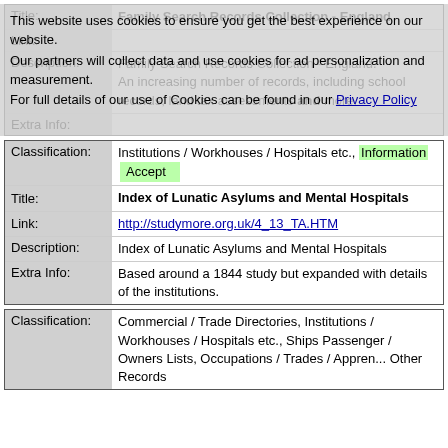| Field | Value |
| --- | --- |
| Title: | Family Search Records Collection - England |
| Link: |  |
| Description: | Family Search Records Collection - England
An increasing number of records, including school records, land tax assessments and more. |
| Extra Info: |  |
| Field | Value |
| --- | --- |
| Classification: | Institutions / Workhouses / Hospitals etc., Information |
| Title: | Index of Lunatic Asylums and Mental Hospitals |
| Link: | http://studymore.org.uk/4_13_TA.HTM |
| Description: | Index of Lunatic Asylums and Mental Hospitals |
| Extra Info: | Based around a 1844 study but expanded with details of the institutions. |
| Field | Value |
| --- | --- |
| Classification: | Commercial / Trade Directories, Institutions / Workhouses / Hospitals etc., Ships Passenger / Owners Lists, Occupations / Trades / Appren... Other Records |